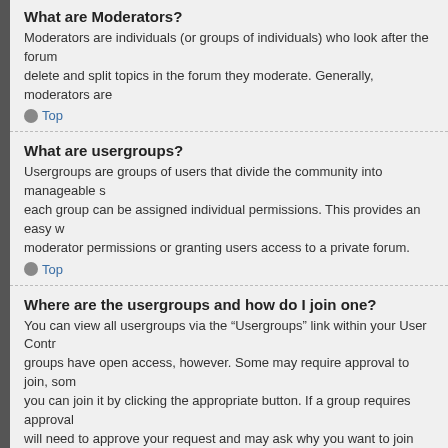What are Moderators?
Moderators are individuals (or groups of individuals) who look after the forum delete and split topics in the forum they moderate. Generally, moderators are
Top
What are usergroups?
Usergroups are groups of users that divide the community into manageable s each group can be assigned individual permissions. This provides an easy w moderator permissions or granting users access to a private forum.
Top
Where are the usergroups and how do I join one?
You can view all usergroups via the “Usergroups” link within your User Contr groups have open access, however. Some may require approval to join, som you can join it by clicking the appropriate button. If a group requires approval will need to approve your request and may ask why you want to join the grou reasons.
Top
How do I become a usergroup leader?
A usergroup leader is usually assigned when usergroups are initially created contact should be an administrator; try sending a private message.
Top